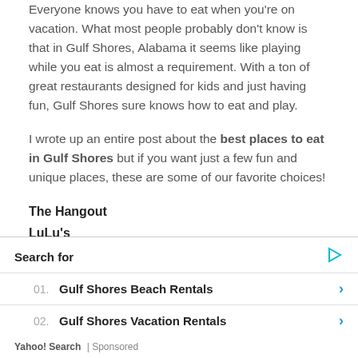Everyone knows you have to eat when you're on vacation. What most people probably don't know is that in Gulf Shores, Alabama it seems like playing while you eat is almost a requirement. With a ton of great restaurants designed for kids and just having fun, Gulf Shores sure knows how to eat and play.
I wrote up an entire post about the best places to eat in Gulf Shores but if you want just a few fun and unique places, these are some of our favorite choices!
The Hangout
LuLu's
Tacky Jack's
Search for
01. Gulf Shores Beach Rentals
02. Gulf Shores Vacation Rentals
Yahoo! Search | Sponsored